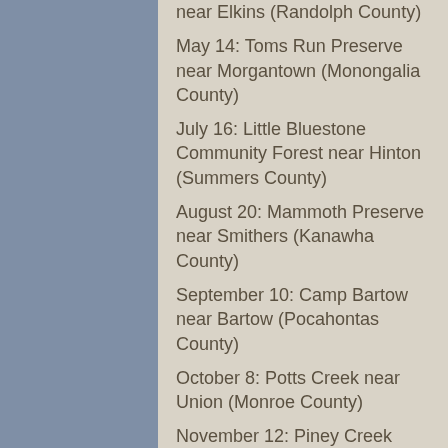near Elkins (Randolph County)
May 14: Toms Run Preserve near Morgantown (Monongalia County)
July 16: Little Bluestone Community Forest near Hinton (Summers County)
August 20: Mammoth Preserve near Smithers (Kanawha County)
September 10: Camp Bartow near Bartow (Pocahontas County)
October 8: Potts Creek near Union (Monroe County)
November 12: Piney Creek Preserve near Beckley (Raleigh